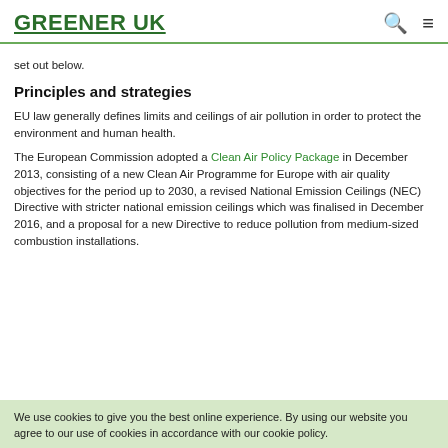GREENER UK
set out below.
Principles and strategies
EU law generally defines limits and ceilings of air pollution in order to protect the environment and human health.
The European Commission adopted a Clean Air Policy Package in December 2013, consisting of a new Clean Air Programme for Europe with air quality objectives for the period up to 2030, a revised National Emission Ceilings (NEC) Directive with stricter national emission ceilings which was finalised in December 2016, and a proposal for a new Directive to reduce pollution from medium-sized combustion installations.
We use cookies to give you the best online experience. By using our website you agree to our use of cookies in accordance with our cookie policy.